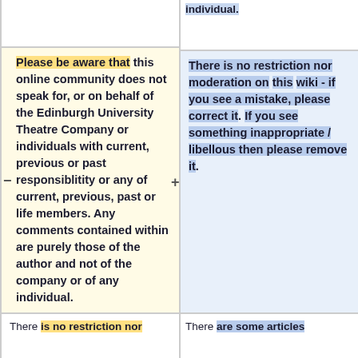individual.
Please be aware that this online community does not speak for, or on behalf of the Edinburgh University Theatre Company or individuals with current, previous or past responsiblitity or any of current, previous, past or life members. Any comments contained within are purely those of the author and not of the company or of any individual.
There is no restriction nor moderation on this wiki - if you see a mistake, please correct it. If you see something inappropriate / libellous then please remove it.
There is no restriction nor
There are some articles